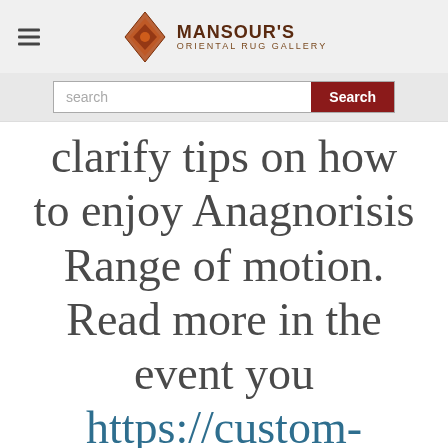MANSOUR'S ORIENTAL RUG GALLERY
clarify tips on how to enjoy Anagnorisis Range of motion. Read more in the event you https://custom-